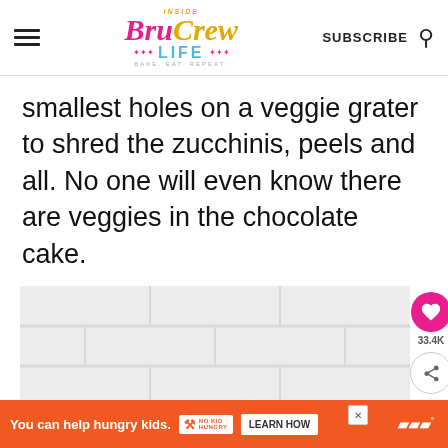Inside BruCrew LIFE - BAKE. EAT. REPEAT. | SUBSCRIBE
smallest holes on a veggie grater to shred the zucchinis, peels and all. No one will even know there are veggies in the chocolate cake.
[Figure (photo): White brick wall background image with floating social sharing UI: heart save button (33.4K saves), share button, and a 'What's Next' card showing Fudgy Dark Chocolate...]
You can help hungry kids.  NO KID HUNGRY  LEARN HOW